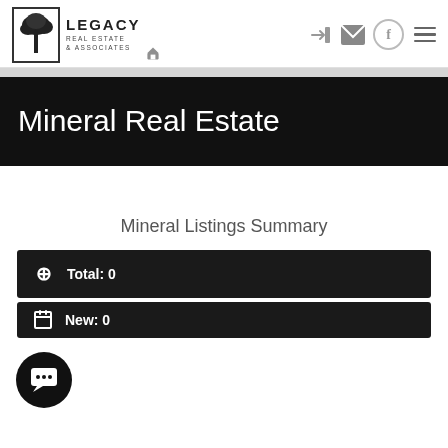Legacy Real Estate & Associates
Mineral Real Estate
Mineral Listings Summary
Total: 0
New: 0